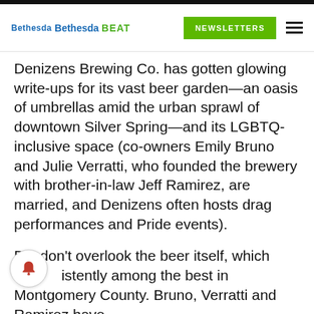Bethesda Bethesda BEAT | NEWSLETTERS
Denizens Brewing Co. has gotten glowing write-ups for its vast beer garden—an oasis of umbrellas amid the urban sprawl of downtown Silver Spring—and its LGBTQ-inclusive space (co-owners Emily Bruno and Julie Verratti, who founded the brewery with brother-in-law Jeff Ramirez, are married, and Denizens often hosts drag performances and Pride events).
But don't overlook the beer itself, which is consistently among the best in Montgomery County. Bruno, Verratti and Ramirez have